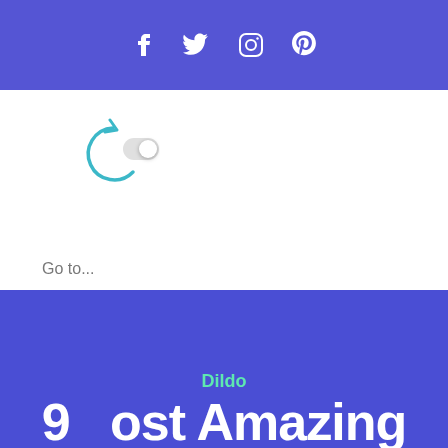f  twitter  instagram  pinterest (social media icons)
[Figure (other): Loading spinner icon (circular arrow) with a toggle/pill switch element next to it]
Go to...
Dildo
9  ost Amazing